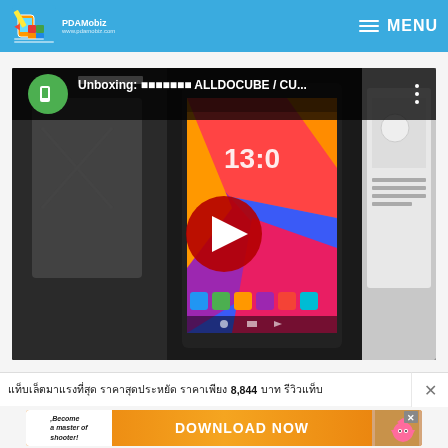PDAMobiz - MENU
[Figure (screenshot): YouTube video thumbnail showing unboxing of ALLDOCUBE/CUBE tablet. Title reads: 'Unboxing: [Thai text] ALLDOCUBE / CU...' with a red play button overlay. The video frame shows a tablet displaying a colorful Android home screen with the time 13:0x visible. A product box is visible to the right.]
[Thai text] 8,844 [Thai text]
[Figure (infographic): Advertisement banner with orange gradient background. Left side shows white box with text 'Become a master of shooter!' in italic. Center shows 'DOWNLOAD NOW' in bold white text. Right side shows a game character image with an X close button.]